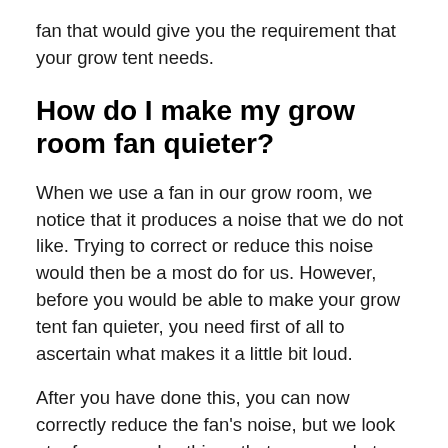fan that would give you the requirement that your grow tent needs.
How do I make my grow room fan quieter?
When we use a fan in our grow room, we notice that it produces a noise that we do not like. Trying to correct or reduce this noise would then be a most do for us. However, before you would be able to make your grow tent fan quieter, you need first of all to ascertain what makes it a little bit loud.
After you have done this, you can now correctly reduce the fan’s noise, but we look at a few everyday things that you can do to make your fan quieter. The first thing you